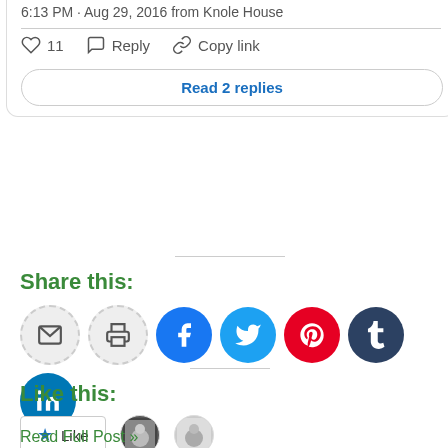6:13 PM · Aug 29, 2016 from Knole House
11  Reply  Copy link
Read 2 replies
Share this:
[Figure (infographic): Social share buttons: email, print, Facebook, Twitter, Pinterest, Tumblr, LinkedIn]
Like this:
[Figure (infographic): Like button and 2 blogger avatars]
2 bloggers like this.
Read Full Post »